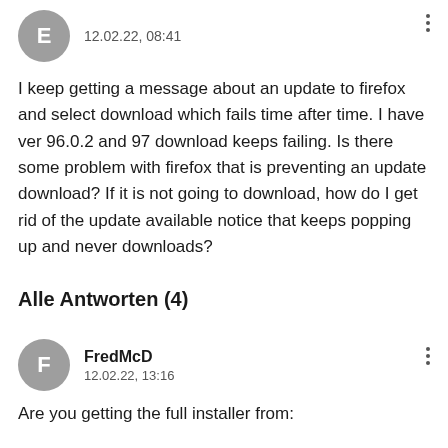12.02.22, 08:41
I keep getting a message about an update to firefox and select download which fails time after time. I have ver 96.0.2 and 97 download keeps failing. Is there some problem with firefox that is preventing an update download? If it is not going to download, how do I get rid of the update available notice that keeps popping up and never downloads?
Alle Antworten (4)
FredMcD
12.02.22, 13:16
Are you getting the full installer from: